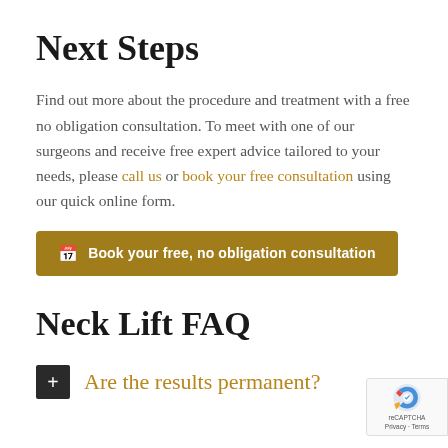Next Steps
Find out more about the procedure and treatment with a free no obligation consultation. To meet with one of our surgeons and receive free expert advice tailored to your needs, please call us or book your free consultation using our quick online form.
Book your free, no obligation consultation
Neck Lift FAQ
+ Are the results permanent?